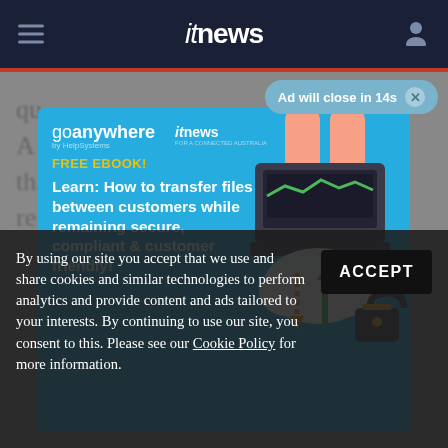itnews
[Figure (infographic): GoAnywhere by HelpSystems advertisement banner on itnews website. Blue background with illustration of hands using a laptop with cloud and file transfer icons. Text: FREE EBOOK! Learn: How to transfer files between customers while remaining secure, compliant & customer friendly!]
Ad will close in 14s ✕
qu...
A... r
th...
re...
By using our site you accept that we use and share cookies and similar technologies to perform analytics and provide content and ads tailored to your interests. By continuing to use our site, you consent to this. Please see our Cookie Policy for more information.
ACCEPT